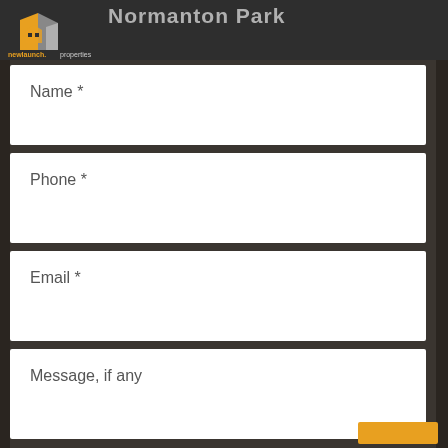Normanton Park
[Figure (logo): newlaunch.properties logo with stylized building icon in orange/grey]
Name *
Phone *
Email *
Message, if any